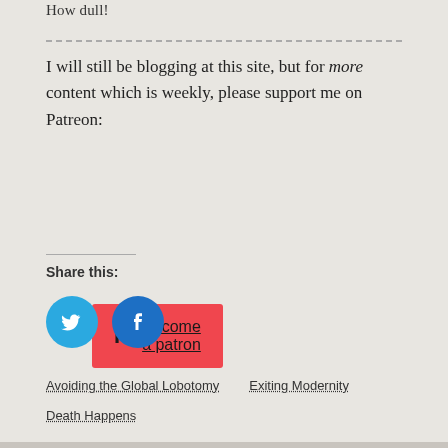How dull!
I will still be blogging at this site, but for more content which is weekly, please support me on Patreon:
[Figure (other): Red Patreon button with Patreon logo icon and text 'Become a patron']
Share this:
[Figure (other): Twitter and Facebook social share icon buttons (blue circles with logos)]
Avoiding the Global Lobotomy
Exiting Modernity
Death Happens